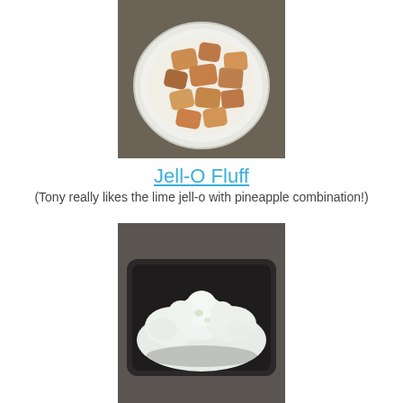[Figure (photo): A white plate with roasted/baked potato chunks, golden brown and reddish, on a dark countertop background.]
Jell-O Fluff
(Tony really likes the lime jell-o with pineapple combination!)
[Figure (photo): A dark/black rectangular baking dish filled with a white fluffy creamy dessert (Jell-O Fluff), on a dark countertop background.]